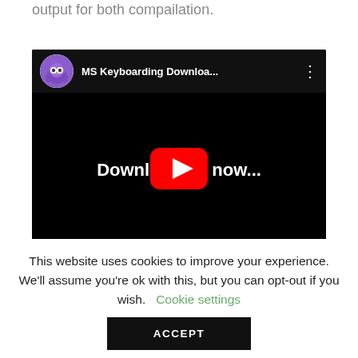service. Please advice how to get the same output for both compailation.
[Figure (screenshot): YouTube video thumbnail showing 'MS Keyboarding Downloa...' with a purple owl avatar, black background, white bold text 'Downloading now...' and a red YouTube play button in the center.]
This website uses cookies to improve your experience. We'll assume you're ok with this, but you can opt-out if you wish.   Cookie settings
ACCEPT